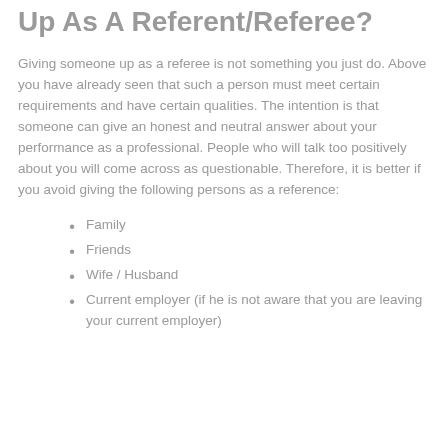Up As A Referent/Referee?
Giving someone up as a referee is not something you just do. Above you have already seen that such a person must meet certain requirements and have certain qualities.  The intention is that someone can give an honest and neutral answer about your performance as a professional. People who will talk too positively about you will come across as questionable. Therefore, it is better if you avoid giving the following persons as a reference:
Family
Friends
Wife / Husband
Current employer (if he is not aware that you are leaving your current employer)